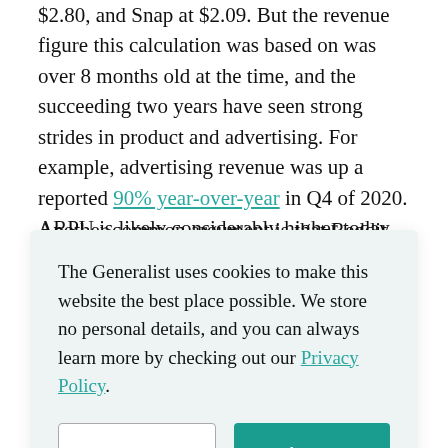$2.80, and Snap at $2.09. But the revenue figure this calculation was based on was over 8 months old at the time, and the succeeding two years have seen strong strides in product and advertising. For example, advertising revenue was up a reported 90% year-over-year in Q4 of 2020. ARPU is likely considerably higher today.
Another common argument is that Reddit users are less
The Generalist uses cookies to make this website the best place possible. We store no personal details, and you can always learn more by checking out our Privacy Policy.
good sign you might be interested in a BlockFi advertisement while hopping into r/entrepreneurship